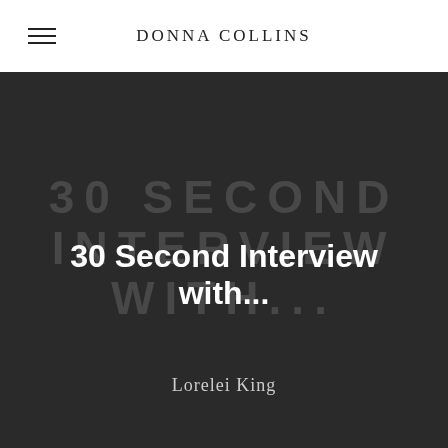DONNA COLLINS
30 Second Interview with...
Lorelei King